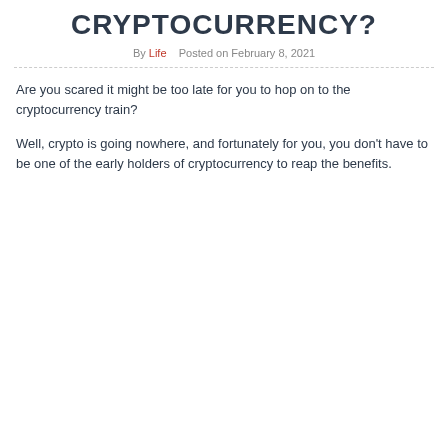CRYPTOCURRENCY?
By Life   Posted on February 8, 2021
Are you scared it might be too late for you to hop on to the cryptocurrency train?
Well, crypto is going nowhere, and fortunately for you, you don’t have to be one of the early holders of cryptocurrency to reap the benefits.